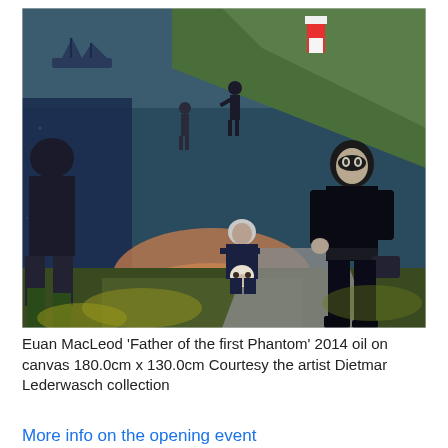[Figure (illustration): Oil painting by Euan MacLeod titled 'Father of the first Phantom' 2014. The painting depicts several dark figures in a dramatic coastal landscape. A tall figure in black stands at right foreground, a kneeling figure holds a skull in the center, and additional figures appear in the misty background with a ship, lighthouse, and rolling hills visible.]
Euan MacLeod 'Father of the first Phantom' 2014 oil on canvas 180.0cm x 130.0cm Courtesy the artist Dietmar Lederwasch collection
More info on the opening event